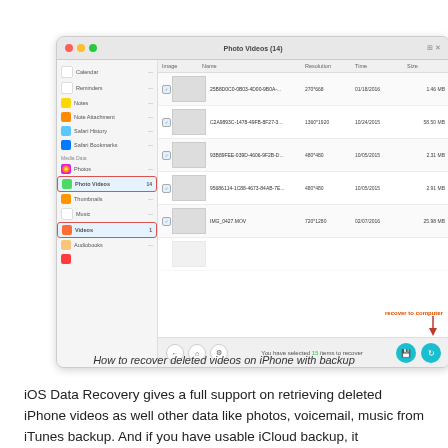[Figure (screenshot): iOS Data Recovery software screenshot showing Photo Videos (14) selected in the sidebar, with a list of video files showing thumbnails, names, resolution, time, and size columns. A 'recover to computer' label with red arrow points to the recover button. Bottom bar shows 'You have selected 15 items to recover' and two teal action buttons.]
How to recover deleted videos on iPhone with backup
iOS Data Recovery gives a full support on retrieving deleted iPhone videos as well other data like photos, voicemail, music from iTunes backup. And if you have usable iCloud backup, it